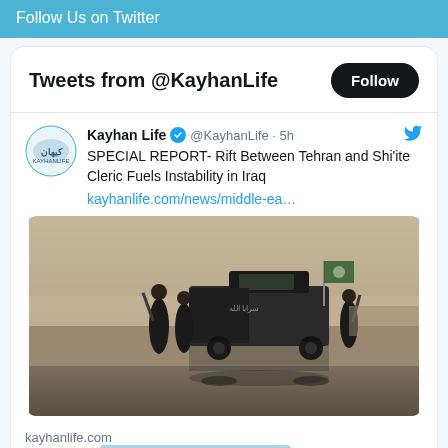Follow Us on Twitter
Tweets from @KayhanLife
Kayhan Life @KayhanLife · 5h
SPECIAL REPORT- Rift Between Tehran and Shi'ite Cleric Fuels Instability in Iraq
kayhanlife.com/news/middle-ea…
[Figure (photo): Armed militia members in black clothing around a black pickup truck with Arabic writing and flags, with reflections on wet ground]
kayhanlife.com
SPECIAL RI… ran
Privacy & Cookies Policy